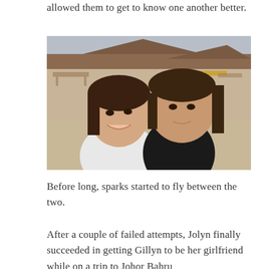allowed them to get to know one another better.
[Figure (photo): Two young Asian women taking a selfie outdoors at what appears to be a beach or sandy outdoor venue with tables and a building with a brown roof in the background. One woman on the left is wearing a white top and smiling, the other on the right is wearing a black top.]
Before long, sparks started to fly between the two.
After a couple of failed attempts, Jolyn finally succeeded in getting Gillyn to be her girlfriend while on a trip to Johor Bahru